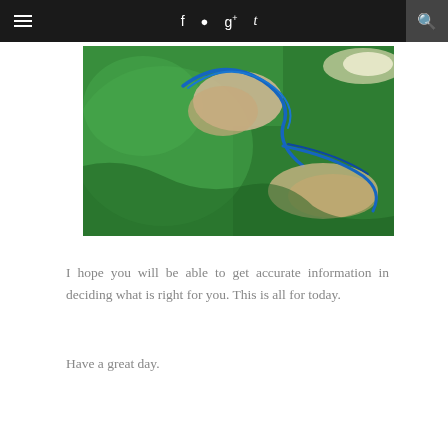☰  f  ig  g+  t  🔍
[Figure (photo): A medical professional in green surgical scrubs and gloves performing a procedure, with blue tubes/cables visible against green surgical draping]
I hope you will be able to get accurate information in deciding what is right for you. This is all for today.
Have a great day.